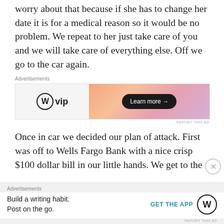worry about that because if she has to change her date it is for a medical reason so it would be no problem. We repeat to her just take care of you and we will take care of everything else. Off we go to the car again.
[Figure (other): Advertisement banner for WordPress VIP with 'Learn more' button on a gradient orange-pink background]
Once in car we decided our plan of attack. First was off to Wells Fargo Bank with a nice crisp $100 dollar bill in our little hands. We get to the
[Figure (other): Bottom advertisement bar for WordPress app: 'Build a writing habit. Post on the go.' with GET THE APP button and WordPress logo]